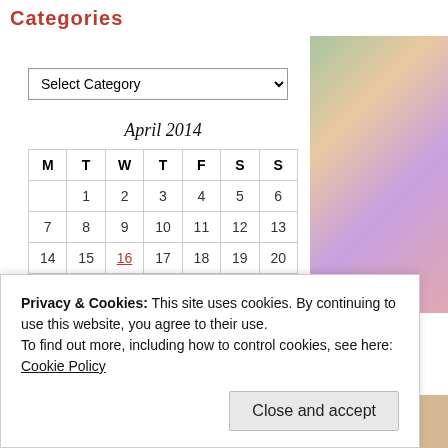Categories
Liberate
Select Category
| M | T | W | T | F | S | S |
| --- | --- | --- | --- | --- | --- | --- |
|  | 1 | 2 | 3 | 4 | 5 | 6 |
| 7 | 8 | 9 | 10 | 11 | 12 | 13 |
| 14 | 15 | 16 | 17 | 18 | 19 | 20 |
| 21 | 22 | 23 | 24 | 25 | 26 | 27 |
| 28 | 29 | 30 |  |  |  |  |
Privacy & Cookies: This site uses cookies. By continuing to use this website, you agree to their use.
To find out more, including how to control cookies, see here: Cookie Policy
Close and accept